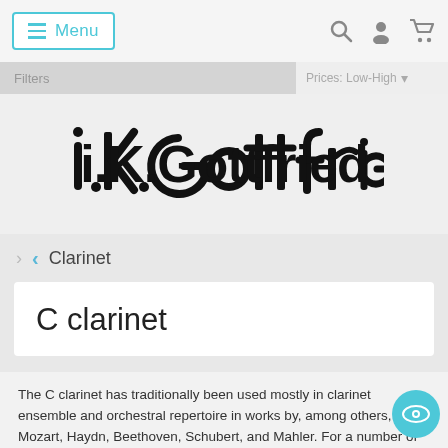≡ Menu
Filters  Prices: Low-High
[Figure (logo): i.K.Gottfried logo in bold stylized black lettering]
‹ Clarinet
C clarinet
The C clarinet has traditionally been used mostly in clarinet ensemble and orchestral repertoire in works by, among others, Mozart, Haydn, Beethoven, Schubert, and Mahler. For a number of years, the C clarinet parts were often transposed to the A or Bb clarinet, so the musician wouldn't have to bring an extra clarinet. In recent years, it has become more